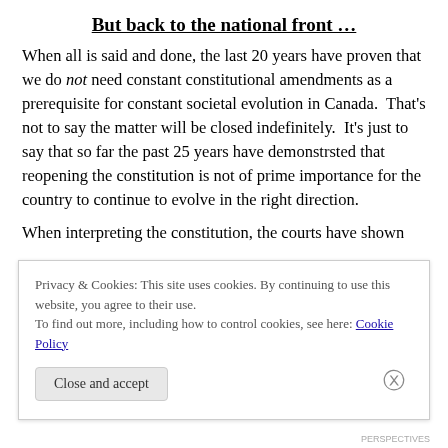But back to the national front …
When all is said and done, the last 20 years have proven that we do not need constant constitutional amendments as a prerequisite for constant societal evolution in Canada.  That's not to say the matter will be closed indefinitely.  It's just to say that so far the past 25 years have demonstrsted that reopening the constitution is not of prime importance for the country to continue to evolve in the right direction.
When interpreting the constitution, the courts have shown
Privacy & Cookies: This site uses cookies. By continuing to use this website, you agree to their use.
To find out more, including how to control cookies, see here: Cookie Policy
PERSPECTIVES